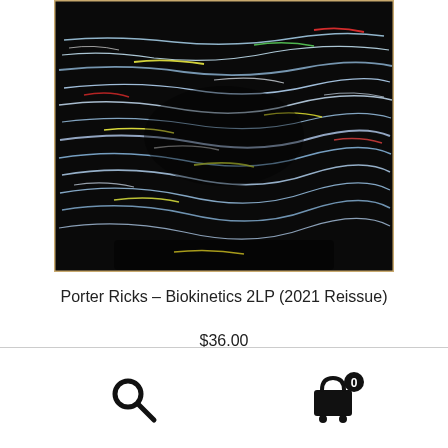[Figure (photo): Album cover artwork for Porter Ricks Biokinetics 2LP (2021 Reissue) — dark black background with colorful neon light streaks (blue, white, yellow, red, green) running horizontally across the image, creating an abstract iridescent wave pattern. The image has a slightly warm border/frame effect.]
Porter Ricks – Biokinetics 2LP (2021 Reissue)
$36.00
[Figure (other): Bottom navigation bar with a search (magnifying glass) icon on the left and a shopping cart icon with a badge showing '0' on the right, separated by a horizontal line from the content above.]